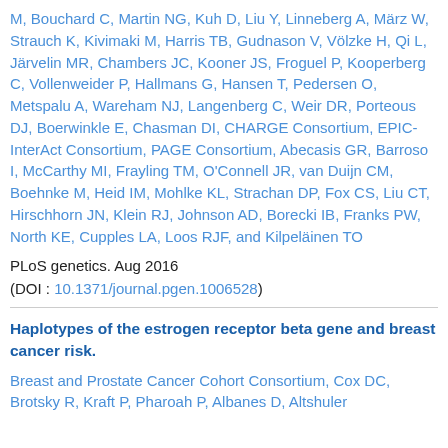M, Bouchard C, Martin NG, Kuh D, Liu Y, Linneberg A, März W, Strauch K, Kivimaki M, Harris TB, Gudnason V, Völzke H, Qi L, Järvelin MR, Chambers JC, Kooner JS, Froguel P, Kooperberg C, Vollenweider P, Hallmans G, Hansen T, Pedersen O, Metspalu A, Wareham NJ, Langenberg C, Weir DR, Porteous DJ, Boerwinkle E, Chasman DI, CHARGE Consortium, EPIC-InterAct Consortium, PAGE Consortium, Abecasis GR, Barroso I, McCarthy MI, Frayling TM, O'Connell JR, van Duijn CM, Boehnke M, Heid IM, Mohlke KL, Strachan DP, Fox CS, Liu CT, Hirschhorn JN, Klein RJ, Johnson AD, Borecki IB, Franks PW, North KE, Cupples LA, Loos RJF, and Kilpeläinen TO
PLoS genetics. Aug 2016
(DOI : 10.1371/journal.pgen.1006528)
Haplotypes of the estrogen receptor beta gene and breast cancer risk.
Breast and Prostate Cancer Cohort Consortium, Cox DC, Brotsky R, Kraft P, Pharoah P, Albanes D, Altshuler